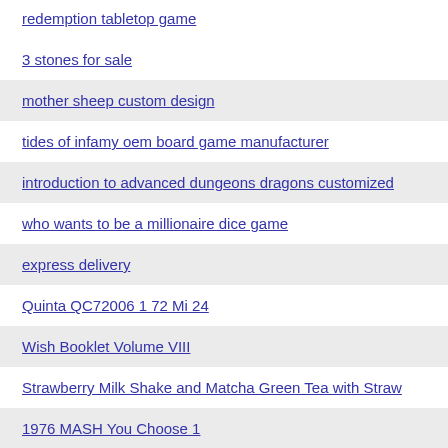redemption tabletop game
3 stones for sale
mother sheep custom design
tides of infamy oem board game manufacturer
introduction to advanced dungeons dragons customized
who wants to be a millionaire dice game
express delivery
Quinta QC72006 1 72 Mi 24
Wish Booklet Volume VIII
Strawberry Milk Shake and Matcha Green Tea with Straw
1976 MASH You Choose 1
cabaret puzzle game